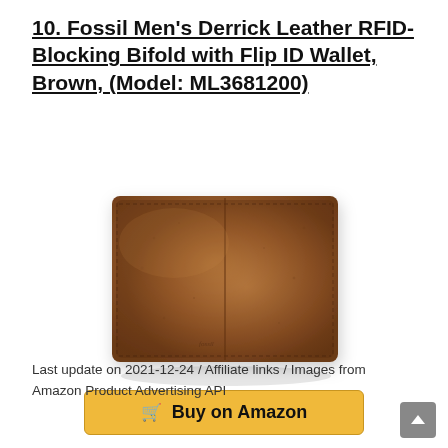10. Fossil Men's Derrick Leather RFID-Blocking Bifold with Flip ID Wallet, Brown, (Model: ML3681200)
[Figure (photo): Brown leather bifold wallet (Fossil Men's Derrick) shown closed, front view, on white background]
Buy on Amazon
Last update on 2021-12-24 / Affiliate links / Images from Amazon Product Advertising API